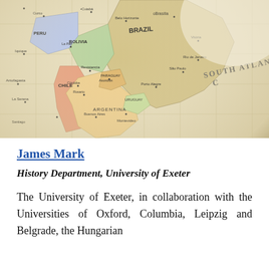[Figure (map): A close-up photograph of a globe showing South America with country names including Brazil, Bolivia, Peru, Chile, Argentina, Uruguay, Paraguay, and Atlantic Ocean label 'SOUTH ATLANTIC'. Cities visible include Brasilia, Rio de Janeiro, São Paulo, Buenos Aires, Montevideo, and others.]
James Mark
History Department, University of Exeter
The University of Exeter, in collaboration with the Universities of Oxford, Columbia, Leipzig and Belgrade, the Hungarian